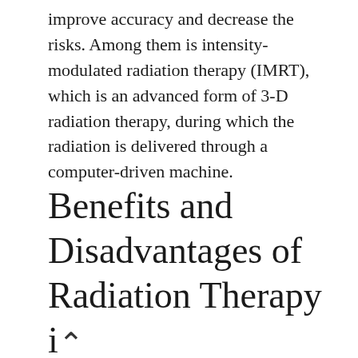improve accuracy and decrease the risks. Among them is intensity-modulated radiation therapy (IMRT), which is an advanced form of 3-D radiation therapy, during which the radiation is delivered through a computer-driven machine.
Benefits and Disadvantages of Radiation Therapy in Mesothelioma